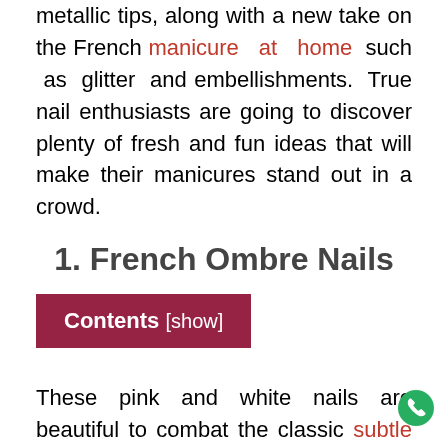metallic tips, along with a new take on the French manicure at home such as glitter and embellishments. True nail enthusiasts are going to discover plenty of fresh and fun ideas that will make their manicures stand out in a crowd.
1. French Ombre Nails
Contents [show]
These pink and white nails are beautiful to combat the classic subtle pink French ombre nails style. The bottom colour maybe a soft shell pink, progressing in an exceedingly gradient to pure white on the tips. These natural nails are worn at a reasonable length. This is often a chic style that will